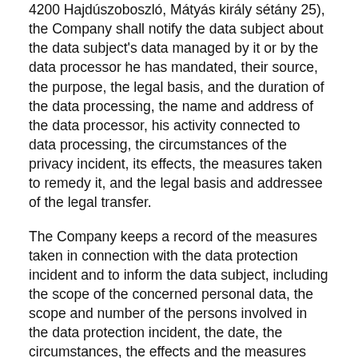4200 Hajdúszoboszló, Mátyás király sétány 25), the Company shall notify the data subject about the data subject's data managed by it or by the data processor he has mandated, their source, the purpose, the legal basis, and the duration of the data processing, the name and address of the data processor, his activity connected to data processing, the circumstances of the privacy incident, its effects, the measures taken to remedy it, and the legal basis and addressee of the legal transfer.
The Company keeps a record of the measures taken in connection with the data protection incident and to inform the data subject, including the scope of the concerned personal data, the scope and number of the persons involved in the data protection incident, the date, the circumstances, the effects and the measures taken for the data protection incident, and other statutory provisions which order the data processing.
In the event of any refusal to provide information, the